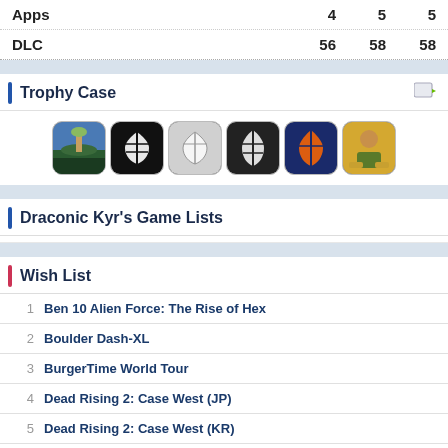|  |  |  |  |
| --- | --- | --- | --- |
| Apps | 4 | 5 | 5 |
| DLC | 56 | 58 | 58 |
Trophy Case
[Figure (illustration): Six game trophy/achievement icons displayed in a row]
Draconic Kyr's Game Lists
Wish List
1  Ben 10 Alien Force: The Rise of Hex
2  Boulder Dash-XL
3  BurgerTime World Tour
4  Dead Rising 2: Case West (JP)
5  Dead Rising 2: Case West (KR)
6  Dead Rising 2: Case Zero (JP)
7  Dead Rising 2: Case Zero (KR)